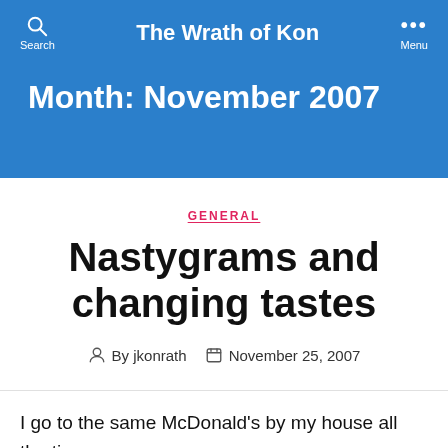The Wrath of Kon
Month: November 2007
GENERAL
Nastygrams and changing tastes
By jkonrath   November 25, 2007
I go to the same McDonald's by my house all the time,